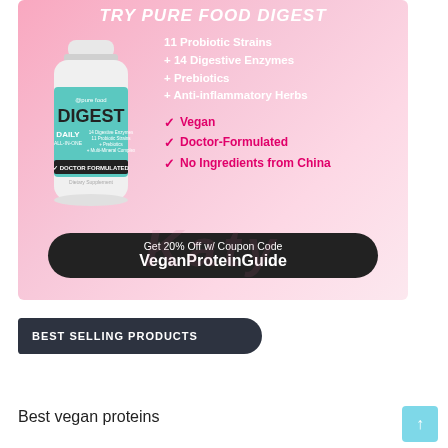[Figure (infographic): Pure Food Digest supplement advertisement with pink gradient background, product bottle image, feature list, checkmarks for Vegan/Doctor-Formulated/No Ingredients from China, and a dark coupon bar with code VeganProteinGuide offering 20% off.]
BEST SELLING PRODUCTS
Best vegan proteins